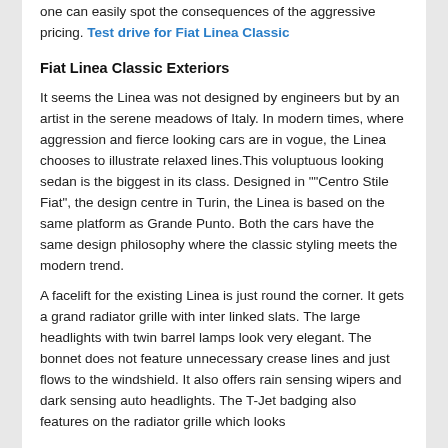one can easily spot the consequences of the aggressive pricing. Test drive for Fiat Linea Classic
Fiat Linea Classic Exteriors
It seems the Linea was not designed by engineers but by an artist in the serene meadows of Italy. In modern times, where aggression and fierce looking cars are in vogue, the Linea chooses to illustrate relaxed lines.This voluptuous looking sedan is the biggest in its class. Designed in ""Centro Stile Fiat", the design centre in Turin, the Linea is based on the same platform as Grande Punto. Both the cars have the same design philosophy where the classic styling meets the modern trend.
A facelift for the existing Linea is just round the corner. It gets a grand radiator grille with inter linked slats. The large headlights with twin barrel lamps look very elegant. The bonnet does not feature unnecessary crease lines and just flows to the windshield. It also offers rain sensing wipers and dark sensing auto headlights. The T-Jet badging also features on the radiator grille which looks